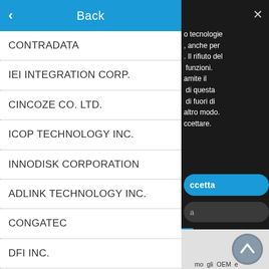Back
CONTRADATA
IEI INTEGRATION CORP.
CINCOZE CO. LTD.
ICOP TECHNOLOGY INC.
INNODISK CORPORATION
ADLINK TECHNOLOGY INC.
CONGATEC
DFI INC.
o tecnologie , anche per . Il rifiuto del funzioni. amite il di questa di fuori di altro modo. ccettare.
ccetta
a
mo gli OEM e